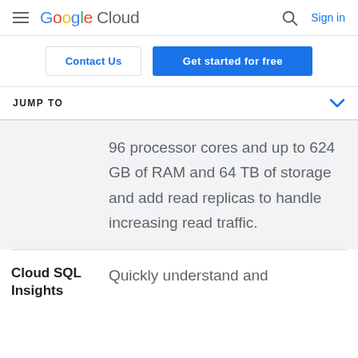Google Cloud — Sign in
Contact Us | Get started for free
JUMP TO
96 processor cores and up to 624 GB of RAM and 64 TB of storage and add read replicas to handle increasing read traffic.
Cloud SQL Insights
Quickly understand and